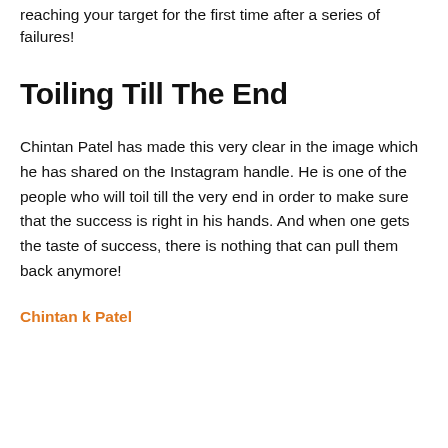reaching your target for the first time after a series of failures!
Toiling Till The End
Chintan Patel has made this very clear in the image which he has shared on the Instagram handle. He is one of the people who will toil till the very end in order to make sure that the success is right in his hands. And when one gets the taste of success, there is nothing that can pull them back anymore!
Chintan k Patel